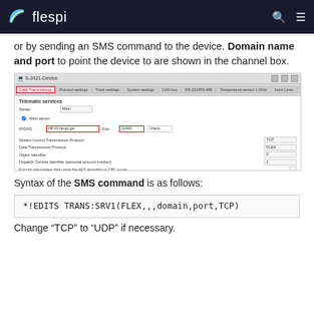flespi
or by sending an SMS command to the device. Domain name and port to point the device to are shown in the channel box.
[Figure (screenshot): Screenshot of S-2421-Device configuration window showing Data Transmission tab with Telematic services section. Fields shown: Server (Main), IP/DNS field with 'HP.00.flespi.gw' highlighted in red border, Port field with '22400' in red border, Stream Control Transmission Protocol set to TCP, Data Transmission Protocol set to FLEX, Object Identifier, Dispatch Centres Identifier, and Encrypt transmitted data using the AES algorithm in CBC mode.]
Syntax of the SMS command is as follows:
*!EDITS TRANS:SRV1(FLEX,,,domain,port,TCP)
Change "TCP" to "UDP" if necessary.